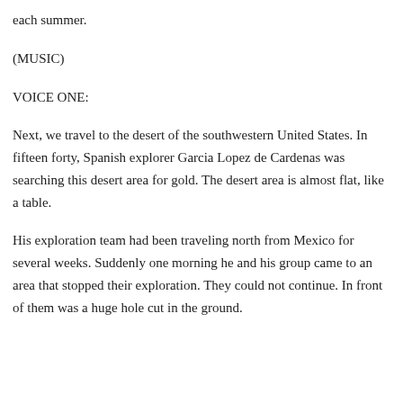each summer.
(MUSIC)
VOICE ONE:
Next, we travel to the desert of the southwestern United States. In fifteen forty, Spanish explorer Garcia Lopez de Cardenas was searching this desert area for gold. The desert area is almost flat, like a table.
His exploration team had been traveling north from Mexico for several weeks. Suddenly one morning he and his group came to an area that stopped their exploration. They could not continue. In front of them was a huge hole cut in the ground.